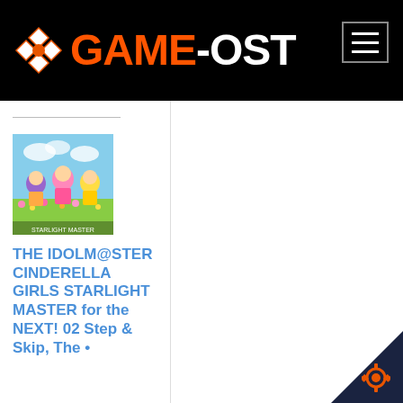GAME-OST
[Figure (screenshot): Anime idol girls album cover thumbnail for THE IDOLM@STER CINDERELLA GIRLS STARLIGHT MASTER]
THE IDOLM@STER CINDERELLA GIRLS STARLIGHT MASTER for the NEXT! 02 Step & Skip, The •